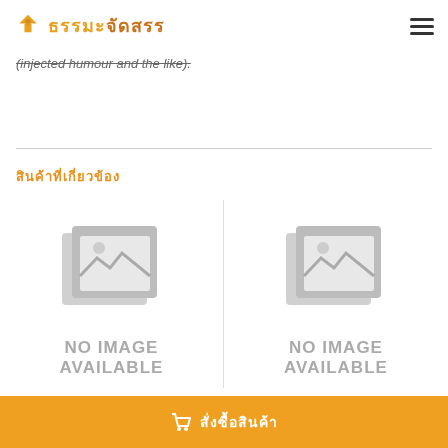ธรรมะจัดสรร
(injected humour and the like).
สินค้าที่เกี่ยวข้อง
[Figure (photo): No image available placeholder - left product card]
[Figure (photo): No image available placeholder - right product card]
สั่งซื้อสินค้า